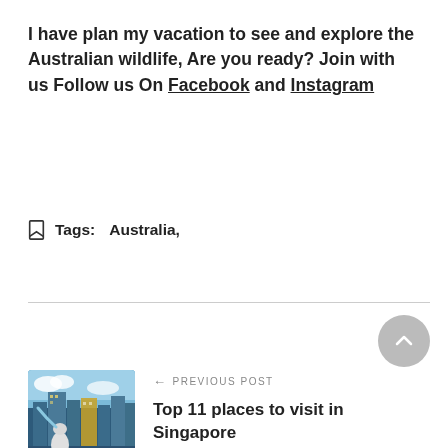I have plan my vacation to see and explore the Australian wildlife, Are you ready? Join with us Follow us On Facebook and Instagram
Tags: Australia,
[Figure (other): Singapore Merlion fountain cityscape photo used as thumbnail for previous post]
PREVIOUS POST
Top 11 places to visit in Singapore